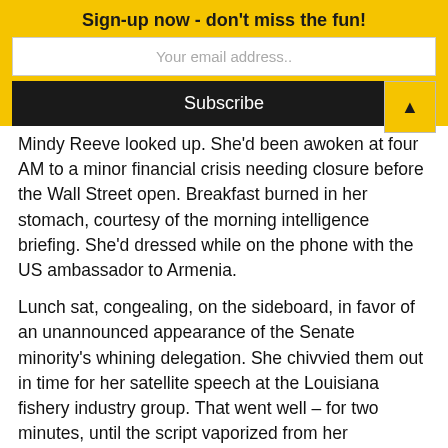Sign-up now - don't miss the fun!
Your email address..
Subscribe
Mindy Reeve looked up. She'd been awoken at four AM to a minor financial crisis needing closure before the Wall Street open. Breakfast burned in her stomach, courtesy of the morning intelligence briefing. She'd dressed while on the phone with the US ambassador to Armenia.
Lunch sat, congealing, on the sideboard, in favor of an unannounced appearance of the Senate minority's whining delegation. She chivvied them out in time for her satellite speech at the Louisiana fishery industry group. That went well – for two minutes, until the script vaporized from her presidential tablet two minutes into the allotted five. Hopefully she remembered the last-minute corrections from the night before.
In the executive washroom she'd caught her breath exactly twice. No one knocked to hurry her up, but her secretary had selectively